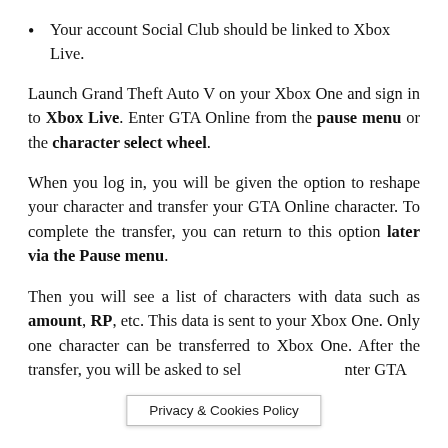Your account Social Club should be linked to Xbox Live.
Launch Grand Theft Auto V on your Xbox One and sign in to Xbox Live. Enter GTA Online from the pause menu or the character select wheel.
When you log in, you will be given the option to reshape your character and transfer your GTA Online character. To complete the transfer, you can return to this option later via the Pause menu.
Then you will see a list of characters with data such as amount, RP, etc. This data is sent to your Xbox One. Only one character can be transferred to Xbox One. After the transfer, you will be asked to sel nter GTA
Privacy & Cookies Policy